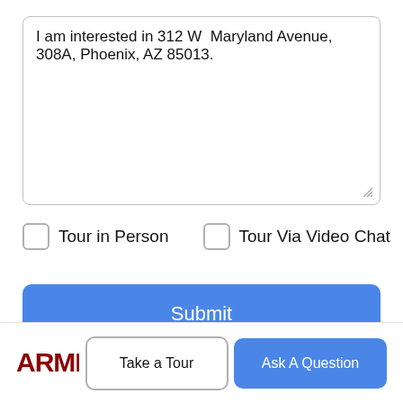I am interested in 312 W  Maryland Avenue, 308A, Phoenix, AZ 85013.
Tour in Person
Tour Via Video Chat
Submit
Disclaimer: By entering your information and submitting this form, you agree to our Terms of Use and Privacy Policy and that you may be contacted by phone, text message and email about your inquiry.
[Figure (logo): ARMLS logo in dark red]
Take a Tour
Ask A Question